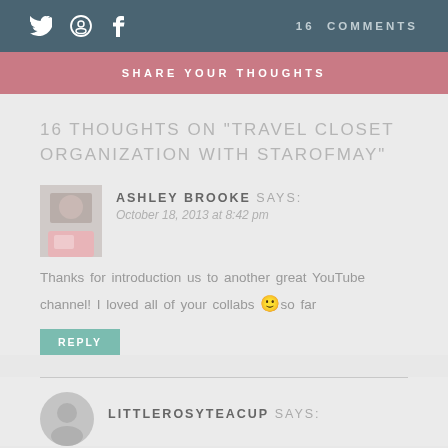16 COMMENTS
SHARE YOUR THOUGHTS
16 THOUGHTS ON "TRAVEL CLOSET ORGANIZATION WITH STAROFMAY"
ASHLEY BROOKE says: October 18, 2013 at 8:42 pm
Thanks for introduction us to another great YouTube channel! I loved all of your collabs 🙂 so far
REPLY
LITTLEROSYTEACUP says: